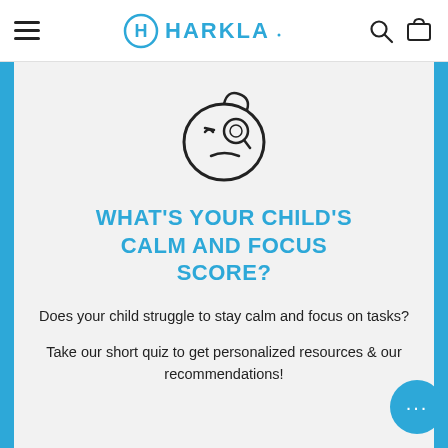HARKLA
enter your email address. We'll send info your right away
[Figure (illustration): Cartoon face with raised eyebrow and monocle, skeptical/questioning expression]
WHAT'S YOUR CHILD'S CALM AND FOCUS SCORE?
Does your child struggle to stay calm and focus on tasks?

Take our short quiz to get personalized resources & our recommendations!